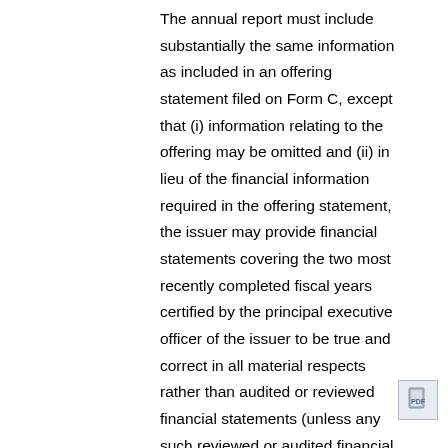The annual report must include substantially the same information as included in an offering statement filed on Form C, except that (i) information relating to the offering may be omitted and (ii) in lieu of the financial information required in the offering statement, the issuer may provide financial statements covering the two most recently completed fiscal years certified by the principal executive officer of the issuer to be true and correct in all material respects rather than audited or reviewed financial statements (unless any such reviewed or audited financial statements are available, in which case those must be provided instead) and a description of the financial condition of the issuer with respect to the period covered by the financial statements.  The concession to provide only certified financial statements in annual reports was made by the SEC in response to multiple comment letters on the proposed rules that expressed concerns with the